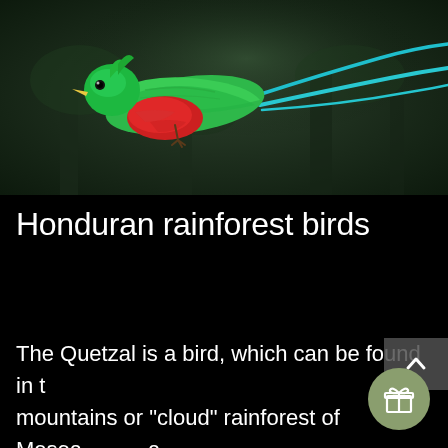[Figure (photo): A Quetzal bird in flight against a dark green blurred forest background. The bird has a vivid red breast, green and teal plumage, and a long streaming blue tail.]
Honduran rainforest birds
The Quetzal is a bird, which can be found in the mountains or "cloud" rainforest of Mesoamerica. If you have seen one flying...